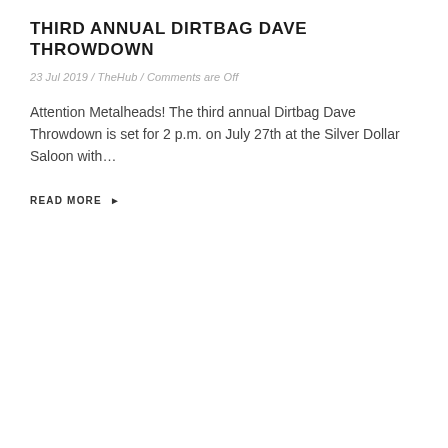THIRD ANNUAL DIRTBAG DAVE THROWDOWN
23 Jul 2019 / TheHub / Comments are Off
Attention Metalheads! The third annual Dirtbag Dave Throwdown is set for 2 p.m. on July 27th at the Silver Dollar Saloon with...
READ MORE ▶